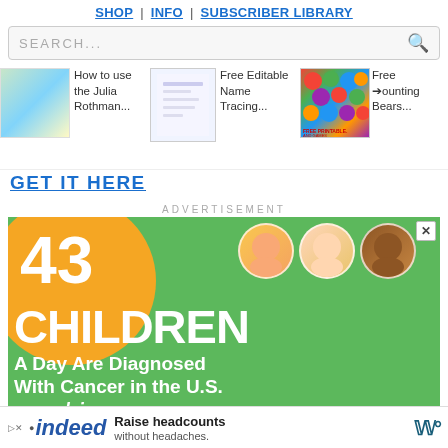SHOP | INFO | SUBSCRIBER LIBRARY
[Figure (screenshot): Search bar with SEARCH... placeholder and magnifying glass icon]
[Figure (screenshot): Thumbnail row with: How to use the Julia Rothman..., Free Editable Name Tracing..., Free ...ounting Bears...]
GET IT HERE
ADVERTISEMENT
[Figure (infographic): Green and orange advertisement banner: 43 CHILDREN A Day Are Diagnosed With Cancer in the U.S. cookies... with three children's face circles and a close button]
[Figure (screenshot): Indeed advertisement bar: indeed - Raise headcounts without headaches.]